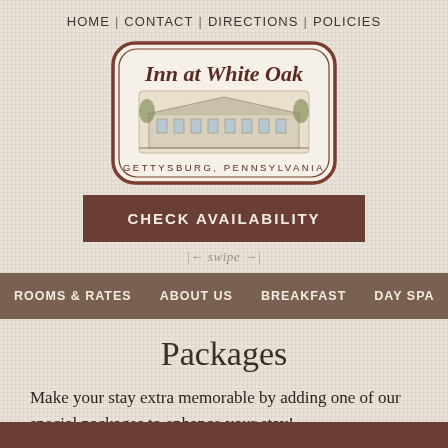HOME | CONTACT | DIRECTIONS | POLICIES
[Figure (logo): Inn at White Oak logo badge with illustration of the inn building. Text reads 'Inn at White Oak' and 'GETTYSBURG, PENNSYLVANIA']
CHECK AVAILABILITY
← swipe →
ROOMS & RATES | ABOUT US | BREAKFAST | DAY SPA | WE
Packages
Make your stay extra memorable by adding one of our special packages to enhance your stay!